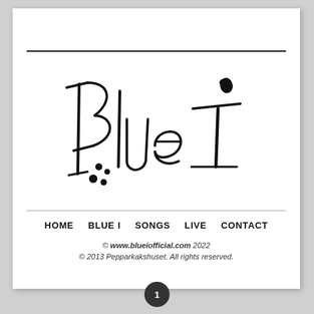[Figure (logo): Hand-drawn/brush-script logo reading 'Blue I' with ink splatter dots]
HOME   BLUE I   SONGS   LIVE   CONTACT
© www.blueiofficial.com 2022
© 2013 Pepparkakshuset. All rights reserved.
1